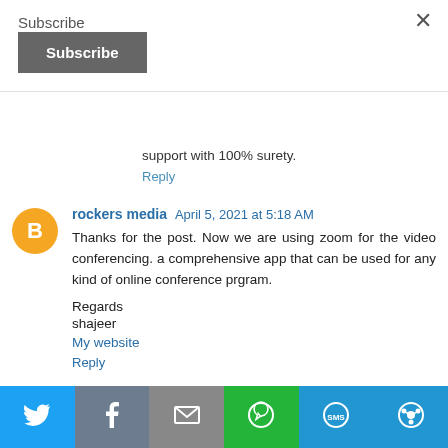Subscribe
Subscribe (button)
support with 100% surety.
Reply
rockers media  April 5, 2021 at 5:18 AM
Thanks for the post. Now we are using zoom for the video conferencing. a comprehensive app that can be used for any kind of online conference prgram.

Regards
shajeer
My website
Reply